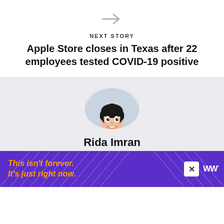[Figure (illustration): Right arrow icon in gray]
NEXT STORY
Apple Store closes in Texas after 22 employees tested COVID-19 positive
[Figure (illustration): Circular avatar of animated character Rida Imran with dark hair bun, wearing a red and white outfit]
Rida Imran
Addicted to social media and in love with iPhone, started blogging as a
[Figure (illustration): Advertisement banner with purple background, orange text reading 'This isn't forever. It's just right now.', a close X button, and a logo on the right]